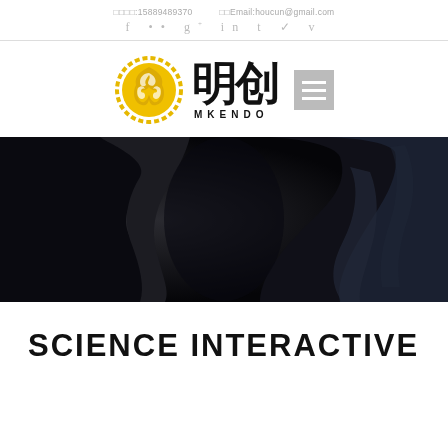联系电话:15889489370   联系Email:houcun@gmail.com
f ●● g+ in t ✓ v
[Figure (logo): MKENDO logo with golden circular emblem with dragon motifs and Chinese characters 明创 with MKENDO text below, plus hamburger menu icon]
[Figure (photo): Dark moody photograph showing a person's arm/shoulder in silhouette against a dark background]
SCIENCE INTERACTIVE